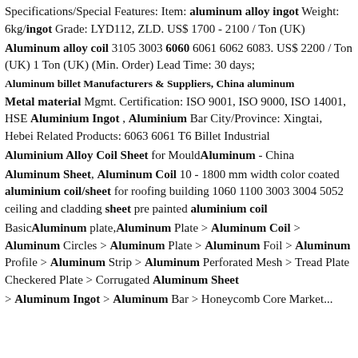Specifications/Special Features: Item: aluminum alloy ingot Weight: 6kg/ingot Grade: LYD112, ZLD. US$ 1700 - 2100 / Ton (UK)
Aluminum alloy coil 3105 3003 6060 6061 6062 6083. US$ 2200 / Ton (UK) 1 Ton (UK) (Min. Order) Lead Time: 30 days;
Aluminum billet Manufacturers & Suppliers, China aluminum
Metal material Mgmt. Certification: ISO 9001, ISO 9000, ISO 14001, HSE Aluminium Ingot , Aluminium Bar City/Province: Xingtai, Hebei Related Products: 6063 6061 T6 Billet Industrial
Aluminium Alloy Coil Sheet for MouldAluminum - China
Aluminum Sheet, Aluminum Coil 10 - 1800 mm width color coated aluminium coil/sheet for roofing building 1060 1100 3003 3004 5052 ceiling and cladding sheet pre painted aluminium coil
BasicAluminum plate,Aluminum Plate > Aluminum Coil > Aluminum Circles > Aluminum Plate > Aluminum Foil > Aluminum Profile > Aluminum Strip > Aluminum Perforated Mesh > Tread Plate Checkered Plate > Corrugated Aluminum Sheet > Aluminum Ingot > Aluminum Bar > Honeycomb Core Market...